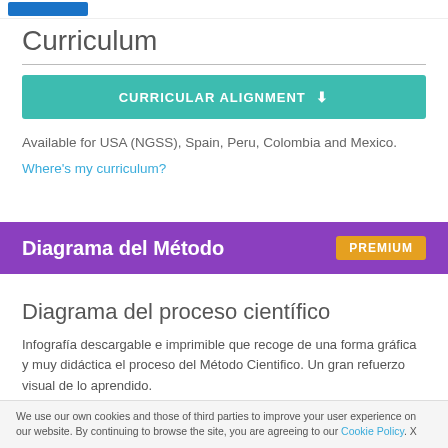Curriculum
[Figure (infographic): Teal/green button labeled CURRICULAR ALIGNMENT with a download icon]
Available for USA (NGSS), Spain, Peru, Colombia and Mexico.
Where's my curriculum?
Diagrama del Método  PREMIUM
Diagrama del proceso científico
Infografía descargable e imprimible que recoge de una forma gráfica y muy didáctica el proceso del Método Cientifico. Un gran refuerzo visual de lo aprendido.
We use our own cookies and those of third parties to improve your user experience on our website. By continuing to browse the site, you are agreeing to our Cookie Policy. X